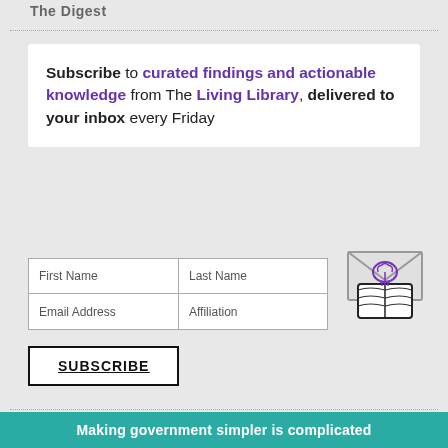The Digest
Subscribe to curated findings and actionable knowledge from The Living Library, delivered to your inbox every Friday
[Figure (illustration): An envelope icon with a brain/book icon in front, drawn in purple and gray outline style, representing the newsletter concept.]
First Name | Last Name | Email Address | Affiliation (form fields)
SUBSCRIBE (button)
Making government simpler is complicated